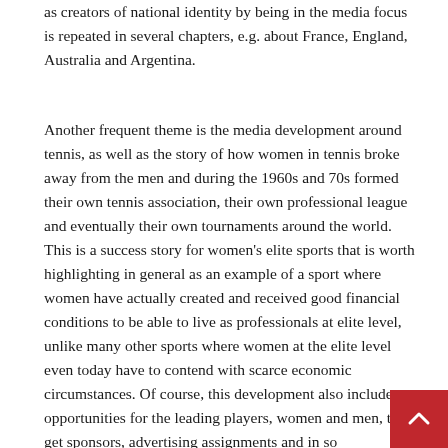as creators of national identity by being in the media focus is repeated in several chapters, e.g. about France, England, Australia and Argentina.
Another frequent theme is the media development around tennis, as well as the story of how women in tennis broke away from the men and during the 1960s and 70s formed their own tennis association, their own professional league and eventually their own tournaments around the world. This is a success story for women's elite sports that is worth highlighting in general as an example of a sport where women have actually created and received good financial conditions to be able to live as professionals at elite level, unlike many other sports where women at the elite level even today have to contend with scarce economic circumstances. Of course, this development also includes opportunities for the leading players, women and men, to get sponsors, advertising assignments and in so...